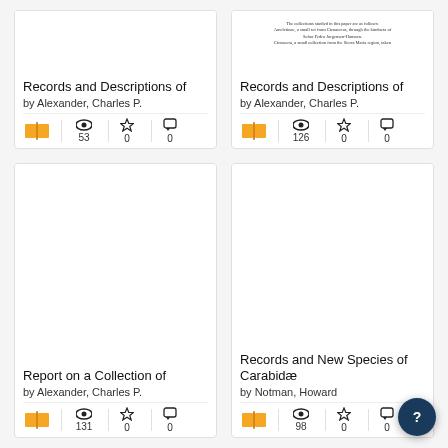[Figure (screenshot): Book catalog grid showing 4 cards: two in top row, two in bottom row. Each card has a thumbnail, title, author, and stats (views, stars, comments).]
Records and Descriptions of
by Alexander, Charles P.
53 views, 0 stars, 0 comments
Records and Descriptions of
by Alexander, Charles P.
126 views, 0 stars, 0 comments
Report on a Collection of
by Alexander, Charles P.
131 views, 0 stars, 0 comments
Records and New Species of Carabidae
by Notman, Howard
98 views, 0 stars, 0 comments